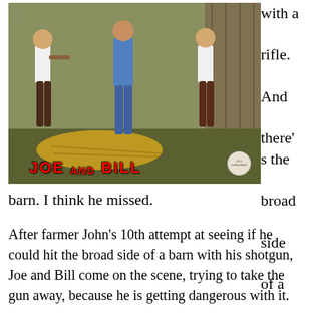[Figure (photo): Photo of three men in a comedic struggle over a rifle near a barn with hay bales; text overlay reads 'JOE AND BILL' in red letters; authentication badge in bottom right corner.]
with a rifle. And there's the broad side of a
barn. I think he missed.
After farmer John's 10th attempt at seeing if he could hit the broad side of a barn with his shotgun, Joe and Bill come on the scene, trying to take the gun away, because he is getting dangerous with it.